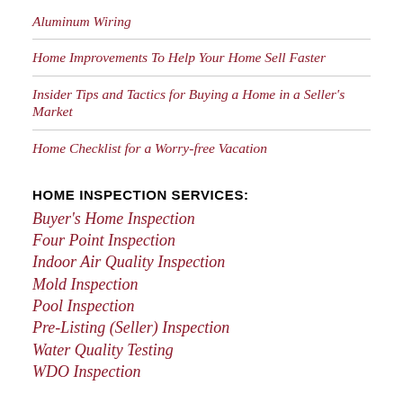Aluminum Wiring
Home Improvements To Help Your Home Sell Faster
Insider Tips and Tactics for Buying a Home in a Seller's Market
Home Checklist for a Worry-free Vacation
HOME INSPECTION SERVICES:
Buyer's Home Inspection
Four Point Inspection
Indoor Air Quality Inspection
Mold Inspection
Pool Inspection
Pre-Listing (Seller) Inspection
Water Quality Testing
WDO Inspection